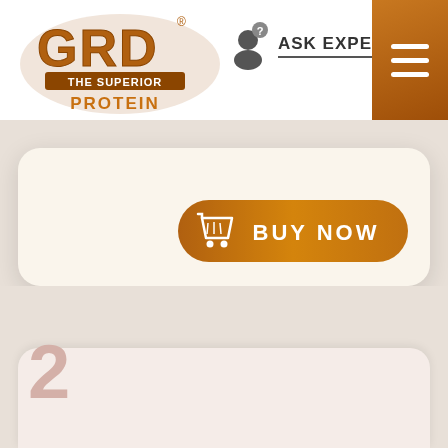[Figure (logo): GRD The Superior Protein logo in brown/orange colors]
ASK EXPERT
[Figure (illustration): BUY NOW button with shopping cart icon, gradient brown-orange pill shape]
2